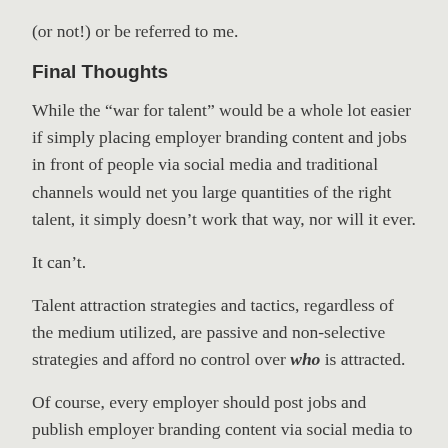(or not!) or be referred to me.
Final Thoughts
While the “war for talent” would be a whole lot easier if simply placing employer branding content and jobs in front of people via social media and traditional channels would net you large quantities of the right talent, it simply doesn’t work that way, nor will it ever.
It can’t.
Talent attraction strategies and tactics, regardless of the medium utilized, are passive and non-selective strategies and afford no control over who is attracted.
Of course, every employer should post jobs and publish employer branding content via social media to attract talent – it works, especially for people who are